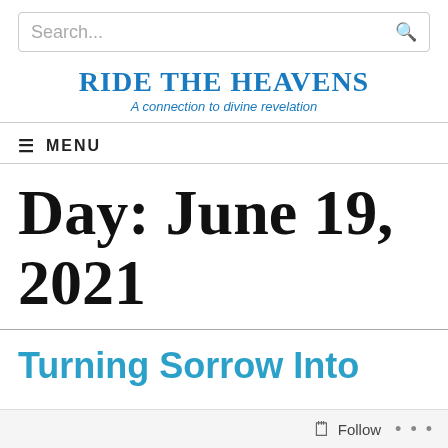[Figure (screenshot): Search bar with placeholder text 'Search...' and a magnifying glass icon on the right]
RIDE THE HEAVENS
A connection to divine revelation
≡ MENU
Day: June 19, 2021
Turning Sorrow Into
Follow ...